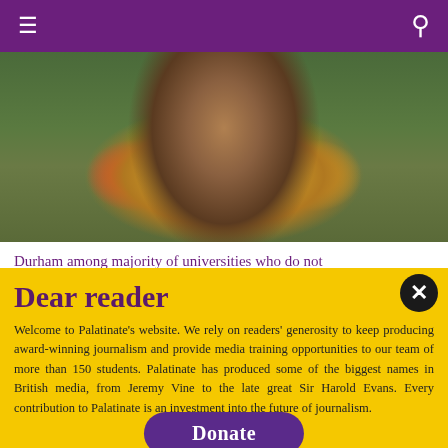≡  🔍
[Figure (photo): Photo of a man wearing a floral garland/lei with green and orange/red flowers, outdoors with green foliage background]
Durham among majority of universities who do not
Dear reader
Welcome to Palatinate's website. We rely on readers' generosity to keep producing award-winning journalism and provide media training opportunities to our team of more than 150 students. Palatinate has produced some of the biggest names in British media, from Jeremy Vine to the late great Sir Harold Evans. Every contribution to Palatinate is an investment into the future of journalism.
Donate